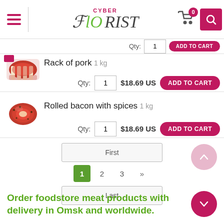[Figure (screenshot): Cyber Florist website header with hamburger menu, logo, cart icon with 0 badge, and search button]
[Figure (photo): Rack of pork meat product image]
Rack of pork 1 kg
Qty: 1  $18.69 US  ADD TO CART
[Figure (photo): Rolled bacon with spices meat product image]
Rolled bacon with spices 1 kg
Qty: 1  $18.69 US  ADD TO CART
First
1  2  3  »
Last
Order foodstore meat products with delivery in Omsk and worldwide.